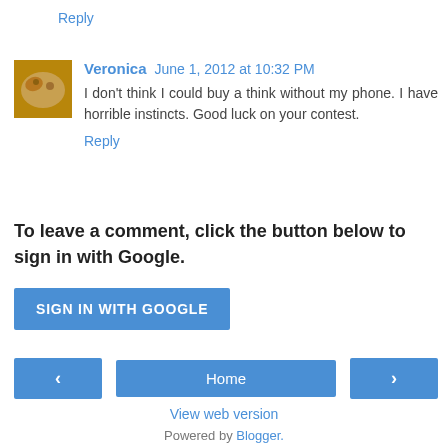Reply
Veronica  June 1, 2012 at 10:32 PM
I don't think I could buy a think without my phone. I have horrible instincts. Good luck on your contest.
Reply
To leave a comment, click the button below to sign in with Google.
SIGN IN WITH GOOGLE
[Figure (screenshot): Navigation bar with left arrow, Home button, and right arrow]
View web version
Powered by Blogger.